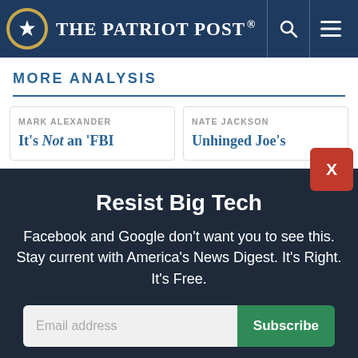The Patriot Post
MORE ANALYSIS
MARK ALEXANDER — It's Not an 'FBI Problem'
NATE JACKSON — Unhinged Joe's
Resist Big Tech
Facebook and Google don't want you to see this. Stay current with America's News Digest. It's Right. It's Free.
Email address
Subscribe
I'm Already Subscribed